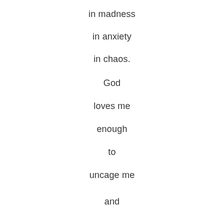in madness
in anxiety
in chaos.
God
loves me
enough
to
uncage me
and